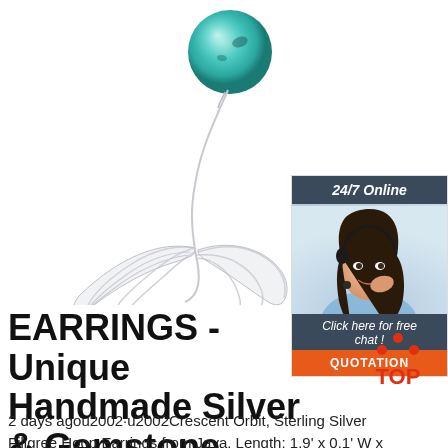[Figure (photo): Product photo of a mermaid tail filigree earring in silver with a turquoise/teal gemstone sphere at the top, displayed on white background.]
[Figure (illustration): Customer service chat widget: dark header '24/7 Online', photo of smiling woman with headset, dark footer 'Click here for free chat!' and orange button 'QUOTATION'.]
EARRINGS - Unique Handmade Silver & Gemstone Earrings at ...
2 days agou2002·u2002Crescent Orbit, Sterling Silver Filigree Hoop Earrings from Java. Length: 1.9' x 0.1' W x 1.3' D. Sally Sagita. Crafted by hand, tun...
[Figure (logo): Red 'TOP' badge with upward arrow dots above the letters.]